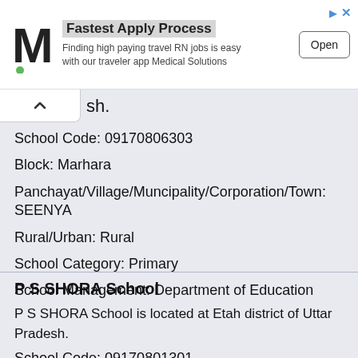[Figure (other): Advertisement banner: M logo (Medical Solutions), 'Fastest Apply Process' headline, 'Finding high paying travel RN jobs is easy with our traveler app Medical Solutions', Open button]
sh.
School Code: 09170806303
Block: Marhara
Panchayat/Village/Muncipality/Corporation/Town: SEENYA
Rural/Urban: Rural
School Category: Primary
School Management: Department of Education
P S SHORA School
P S SHORA School is located at Etah district of Uttar Pradesh.
School Code: 09170801301